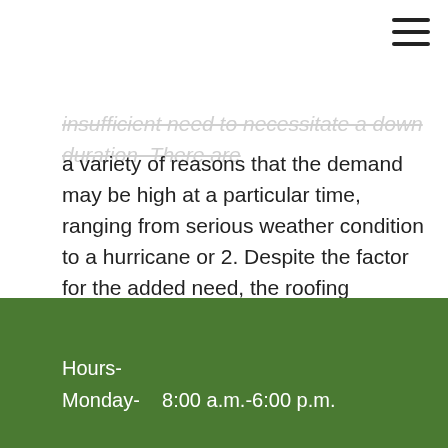[Figure (other): Hamburger menu icon (three horizontal lines) in top right corner]
insufficient need to necessitate a down duration. There are a variety of reasons that the demand may be high at a particular time, ranging from serious weather condition to a hurricane or 2. Despite the factor for the added need, the roofing contractor you select ought to be experienced in managing roofings of differing dimensions. Prior to hiring somebody to do a roof repair work or installation, examine their qualifications as well as referrals, ask them regarding their years of experience, and also make certain that they are insured as well as bound. Getting high quality work done is very important, so make sure to take a look at the contractors you are thinking about very carefully.
Hours-
Monday-    8:00 a.m.-6:00 p.m.